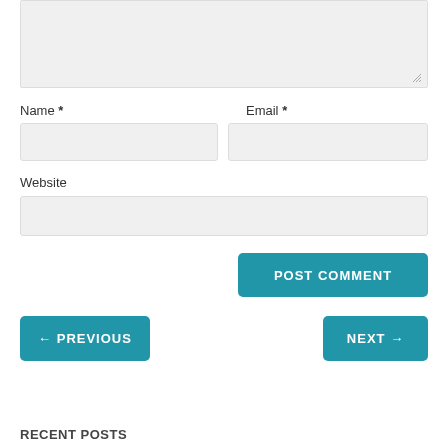Name *
Email *
Website
POST COMMENT
← PREVIOUS
NEXT →
RECENT POSTS